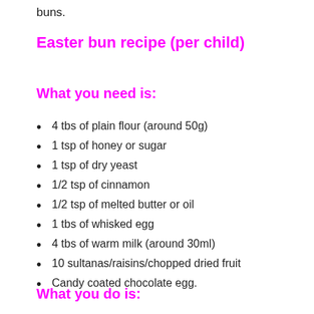buns.
Easter bun recipe (per child)
What you need is:
4 tbs of plain flour (around 50g)
1 tsp of honey or sugar
1 tsp of dry yeast
1/2 tsp of cinnamon
1/2 tsp of melted butter or oil
1 tbs of whisked egg
4 tbs of warm milk (around 30ml)
10 sultanas/raisins/chopped dried fruit
Candy coated chocolate egg.
What you do is: